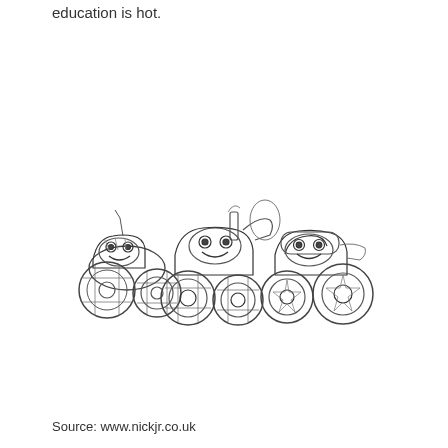education is hot.
[Figure (illustration): Coloring page line drawing of three cartoon monster trucks with smiling faces and large knobby tires, characters from Blaze and the Monster Machines (Nick Jr.)]
Source: www.nickjr.co.uk